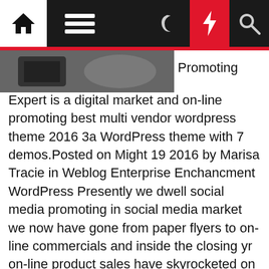[Navigation bar: home icon, menu icon, dark mode, bolt/flash icon, search icon]
[Figure (photo): Partially visible dark photo of a device, cropped at top of content area]
Promoting
Expert is a digital market and on-line promoting best multi vendor wordpress theme 2016 3a WordPress theme with 7 demos.Posted on Might 19 2016 by Marisa Tracie in Weblog Enterprise Enchancment WordPress Presently we dwell social media promoting in social media market we now have gone from paper flyers to on-line commercials and inside the closing yr on-line product sales have skyrocketed on account of social media selling accessible to. Along with the migration to Google servers , quite a few new features have been launched, together with label group, a drag-and-drop template modifying interface, finding out permissions (to create non-public blogs) and new Web feed picks.